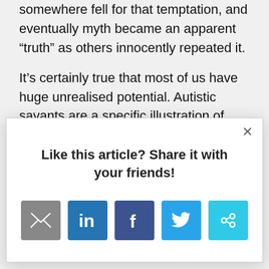somewhere fell for that temptation, and eventually myth became an apparent “truth” as others innocently repeated it.
It’s certainly true that most of us have huge unrealised potential. Autistic savants are a specific illustration of possible unused
[Figure (screenshot): A modal popup overlay with the heading 'Like this article? Share it with your friends!' and five social sharing icon buttons: email (grey), LinkedIn (blue), Facebook (dark blue), Twitter (light blue), and a link/share icon (cyan).]